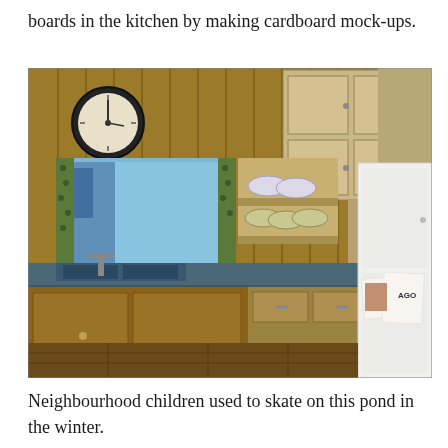boards in the kitchen by making cardboard mock-ups.
[Figure (photo): Interior photograph of a vintage kitchen with wood-paneled walls and cabinets, blue countertop with sink and faucet in the corner, open shelves with decorative plates, a round wall clock, floral curtains, and a white refrigerator on the right side with papers and magnets attached to it.]
Neighbourhood children used to skate on this pond in the winter.